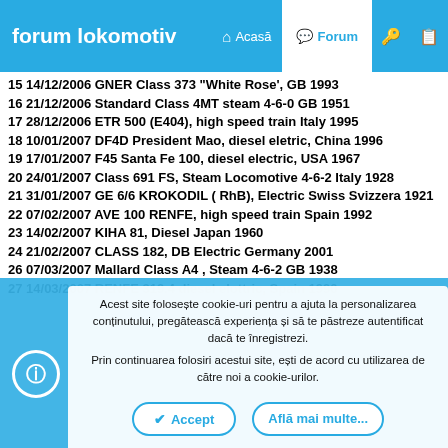forum lokomotiv — Acasă | Forum
15 14/12/2006 GNER Class 373 "White Rose', GB 1993
16 21/12/2006 Standard Class 4MT steam 4-6-0 GB 1951
17 28/12/2006 ETR 500 (E404), high speed train Italy 1995
18 10/01/2007 DF4D President Mao, diesel eletric, China 1996
19 17/01/2007 F45 Santa Fe 100, diesel electric, USA 1967
20 24/01/2007 Class 691 FS, Steam Locomotive 4-6-2 Italy 1928
21 31/01/2007 GE 6/6 KROKODIL ( RhB), Electric Swiss Svizzera 1921
22 07/02/2007 AVE 100 RENFE, high speed train Spain 1992
23 14/02/2007 KIHA 81, Diesel Japan 1960
24 21/02/2007 CLASS 182, DB Electric Germany 2001
26 07/03/2007 Mallard Class A4 , Steam 4-6-2 GB 1938
27 14/03/2007 RENFE 319.4 diesel elottric, Spain 1990
Acest site folosește cookie-uri pentru a ajuta la personalizarea conținutului, pregătească experiența și să te păstreze autentificat dacă te înregistrezi.
Prin continuarea folosiri acestui site, ești de acord cu utilizarea de către noi a cookie-urilor.
✓ Accept | Află mai multe...